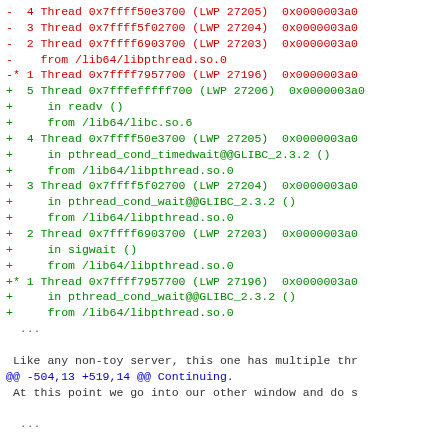- 4 Thread 0x7ffff50e3700 (LWP 27205) 0x0000003a0
- 3 Thread 0x7ffff5f02700 (LWP 27204) 0x0000003a0
- 2 Thread 0x7ffff6903700 (LWP 27203) 0x0000003a0
-   from /lib64/libpthread.so.0
-* 1 Thread 0x7ffff7957700 (LWP 27196) 0x0000003a0
+ 5 Thread 0x7fffefffF700 (LWP 27206) 0x0000003a0
+     in readv ()
+     from /lib64/libc.so.6
+ 4 Thread 0x7ffff50e3700 (LWP 27205) 0x0000003a0
+     in pthread_cond_timedwait@@GLIBC_2.3.2 ()
+     from /lib64/libpthread.so.0
+ 3 Thread 0x7ffff5f02700 (LWP 27204) 0x0000003a0
+     in pthread_cond_wait@@GLIBC_2.3.2 ()
+     from /lib64/libpthread.so.0
+ 2 Thread 0x7ffff6903700 (LWP 27203) 0x0000003a0
+     in sigwait ()
+     from /lib64/libpthread.so.0
+* 1 Thread 0x7ffff7957700 (LWP 27196) 0x0000003a0
+     in pthread_cond_wait@@GLIBC_2.3.2 ()
+     from /lib64/libpthread.so.0
  ...

 Like any non-toy server, this one has multiple thr
@@ -504,13 +519,14 @@ Continuing.
 At this point we go into our other window and do s

  ...

-[root@gfs-i8c-01 ~]# echo goodbye > /play/import/a
+~# echo goodbye > /srv/import/another_file
 (back to the first window)
@@ -504,13 +519,14 @@ Continuing.
-[root@gfs-i8c-01 ~]# echo goodbye > /play/import/a
+~# echo goodbye > /srv/import/another_file